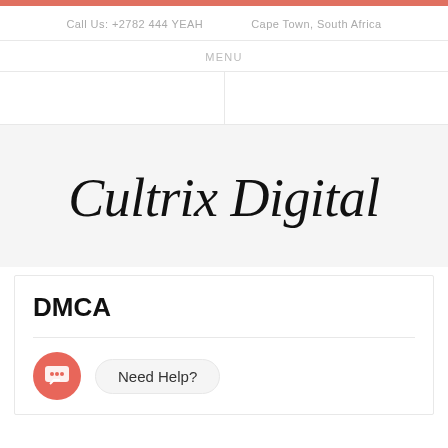Call Us: +2782 444 YEAH    Cape Town, South Africa
MENU
[Figure (logo): Cultrix Digital cursive script logo in black on light grey background]
DMCA
Need Help?